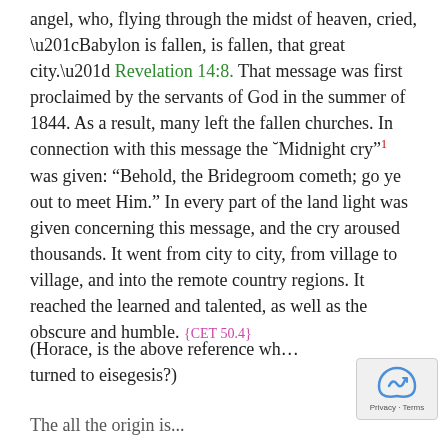angel, who, flying through the midst of heaven, cried, “Babylon is fallen, is fallen, that great city.” Revelation 14:8. That message was first proclaimed by the servants of God in the summer of 1844. As a result, many left the fallen churches. In connection with this message the ˍMidnight cry”¹ was given: “Behold, the Bridegroom cometh; go ye out to meet Him.” In every part of the land light was given concerning this message, and the cry aroused thousands. It went from city to city, from village to village, and into the remote country regions. It reached the learned and talented, as well as the obscure and humble. {CET 50.4}
(Horace, is the above reference wh… turned to eisegesis?)
The all the origin is...